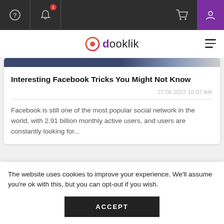dooklik navigation bar with help, bell notification (1), cart, and user icons
Interesting Facebook Tricks You Might Not Know
27.06.2022 10:07 AM
Facebook is still one of the most popular social network in the world, with 2.91 billion monthly active users, and users are constantly looking for...
The website uses cookies to improve your experience. We'll assume you're ok with this, but you can opt-out if you wish.